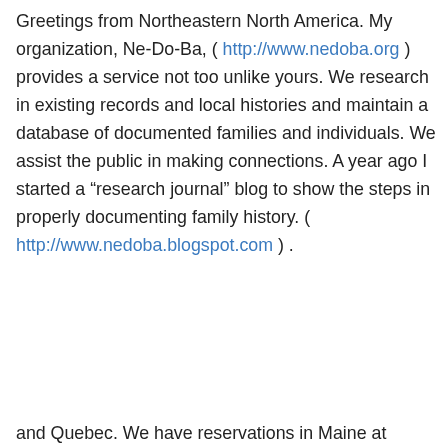Greetings from Northeastern North America. My organization, Ne-Do-Ba, ( http://www.nedoba.org ) provides a service not too unlike yours. We research in existing records and local histories and maintain a database of documented families and individuals. We assist the public in making connections. A year ago I started a “research journal” blog to show the steps in properly documenting family history. ( http://www.nedoba.blogspot.com ) .
Privacy & Cookies: This site uses cookies. By continuing to use this website, you agree to their use.
To find out more, including how to control cookies, see here: Cookie Policy
Close and accept
and Quebec. We have reservations in Maine at